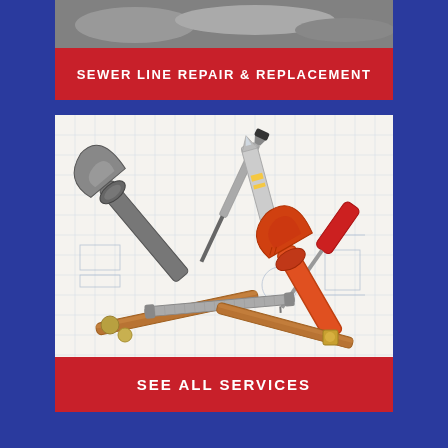SEWER LINE REPAIR & REPLACEMENT
[Figure (photo): Plumbing tools including pipe wrenches, screwdrivers, copper pipes, flexible hose, utility knife and brass fittings arranged on blueprint plans]
SEE ALL SERVICES